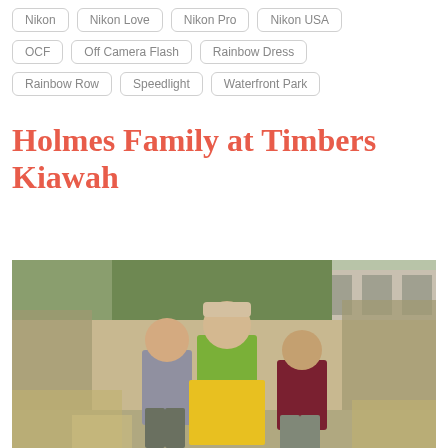Nikon
Nikon Love
Nikon Pro
Nikon USA
OCF
Off Camera Flash
Rainbow Dress
Rainbow Row
Speedlight
Waterfront Park
Holmes Family at Timbers Kiawah
[Figure (photo): Three children standing outdoors among tall ornamental grasses with a building in the background. A boy in gray on the left, a girl in green top and yellow floral skirt in the center, and a boy in dark red sweater on the right.]